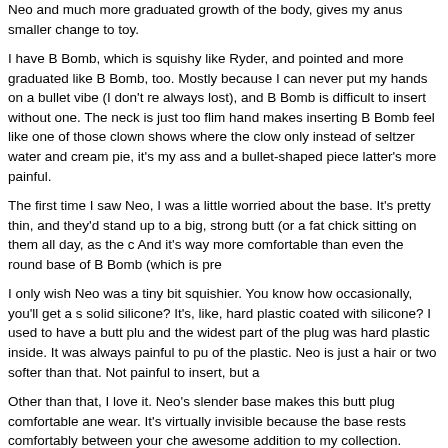Neo and much more graduated growth of the body, gives my anus smaller change to toy.
I have B Bomb, which is squishy like Ryder, and pointed and more graduated like B Bomb, too. Mostly because I can never put my hands on a bullet vibe (I don't re always lost), and B Bomb is difficult to insert without one. The neck is just too flim hand makes inserting B Bomb feel like one of those clown shows where the clow only instead of seltzer water and cream pie, it's my ass and a bullet-shaped piece latter's more painful.
The first time I saw Neo, I was a little worried about the base. It's pretty thin, and they'd stand up to a big, strong butt (or a fat chick sitting on them all day, as the c And it's way more comfortable than even the round base of B Bomb (which is pre
I only wish Neo was a tiny bit squishier. You know how occasionally, you'll get a s solid silicone? It's, like, hard plastic coated with silicone? I used to have a butt plu and the widest part of the plug was hard plastic inside. It was always painful to pu of the plastic. Neo is just a hair or two softer than that. Not painful to insert, but a
Other than that, I love it. Neo's slender base makes this butt plug comfortable ane wear. It's virtually invisible because the base rests comfortably between your che awesome addition to my collection.
Anything else I should know?
Use water based lube only.
Wash with non-abrasive antibacterial soap. Disinfect by boiling, using a 10% blea tossing it in the top drawer of your dishwasher.